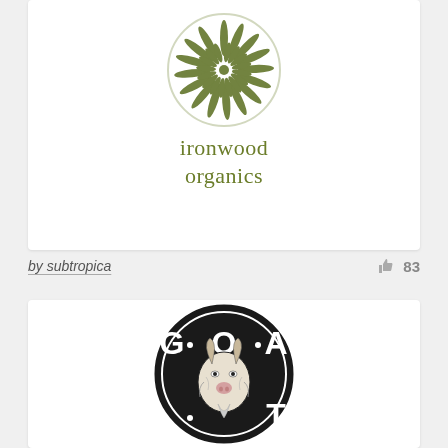[Figure (logo): Ironwood Organics logo: circular green botanical illustration above text 'ironwood organics' in olive green serif font]
by subtropica
83
[Figure (logo): GOAT logo: circular black badge with white letters G.O.A.T. and a detailed illustration of a goat's head in the center]